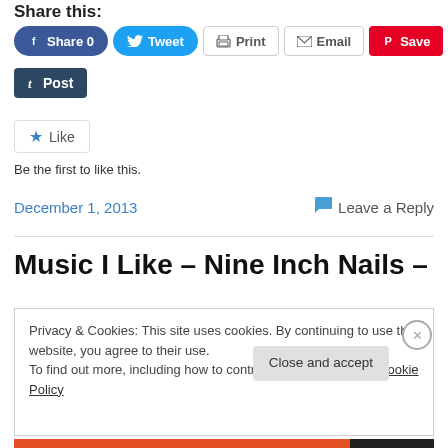Share this:
[Figure (screenshot): Social sharing buttons: Facebook Share 0, Tweet, Print, Email, Save (Pinterest), Tumblr Post]
[Figure (screenshot): WordPress Like button with star icon]
Be the first to like this.
December 1, 2013
Leave a Reply
Music I Like – Nine Inch Nails –
Privacy & Cookies: This site uses cookies. By continuing to use this website, you agree to their use.
To find out more, including how to control cookies, see here: Cookie Policy
Close and accept